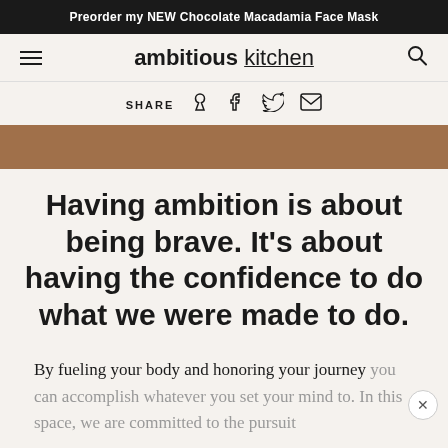Preorder my NEW Chocolate Macadamia Face Mask
[Figure (logo): Ambitious Kitchen logo with hamburger menu and search icon]
SHARE
[Figure (photo): Partial brown/warm-toned photo strip]
Having ambition is about being brave. It's about having the confidence to do what we were made to do.
By fueling your body and honoring your journey you can accomplish whatever you set your mind to. In this space, we are committed to the pursuit